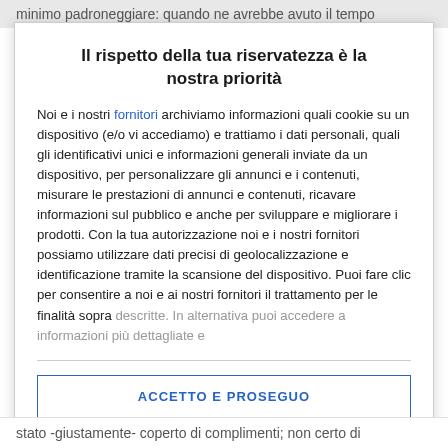minimo padroneggiare: quando ne avrebbe avuto il tempo
Il rispetto della tua riservatezza è la nostra priorità
Noi e i nostri fornitori archiviamo informazioni quali cookie su un dispositivo (e/o vi accediamo) e trattiamo i dati personali, quali gli identificativi unici e informazioni generali inviate da un dispositivo, per personalizzare gli annunci e i contenuti, misurare le prestazioni di annunci e contenuti, ricavare informazioni sul pubblico e anche per sviluppare e migliorare i prodotti. Con la tua autorizzazione noi e i nostri fornitori possiamo utilizzare dati precisi di geolocalizzazione e identificazione tramite la scansione del dispositivo. Puoi fare clic per consentire a noi e ai nostri fornitori il trattamento per le finalità sopra descritte. In alternativa puoi accedere a informazioni più dettagliate e
ACCETTO E PROSEGUO
PIÙ OPZIONI
stato -giustamente- coperto di complimenti; non certo di